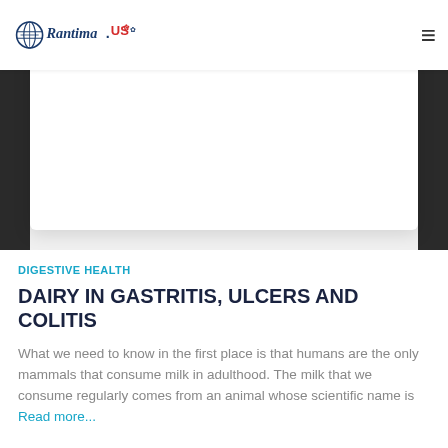Rantima.US
[Figure (photo): White card placeholder image area on dark background]
DIGESTIVE HEALTH
DAIRY IN GASTRITIS, ULCERS AND COLITIS
What we need to know in the first place is that humans are the only mammals that consume milk in adulthood. The milk that we consume regularly comes from an animal whose scientific name is Read more...